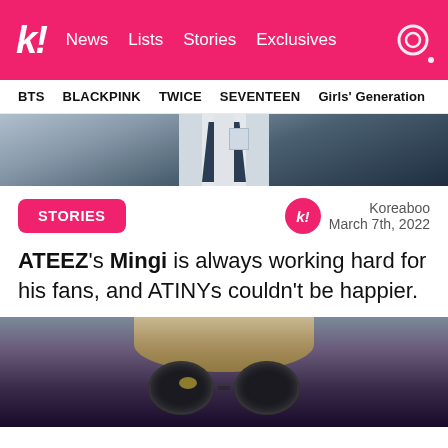k! News Lists Stories Exclusives
BTS BLACKPINK TWICE SEVENTEEN Girls' Generation
[Figure (photo): Partial view of person in blue uniform or jacket]
STORIES
Koreaboo
March 7th, 2022
ATEEZ's Mingi is always working hard for his fans, and ATINYs couldn't be happier.
[Figure (photo): Person with blonde hair wearing large black round sunglasses, shot from below against a blue background]